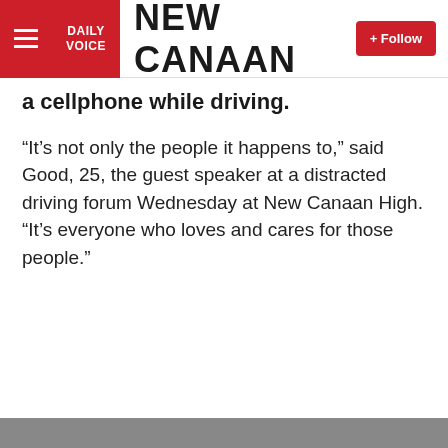DAILY VOICE | NEW CANAAN | + Follow
a cellphone while driving.
“It’s not only the people it happens to,” said Good, 25, the guest speaker at a distracted driving forum Wednesday at New Canaan High. “It’s everyone who loves and cares for those people.”